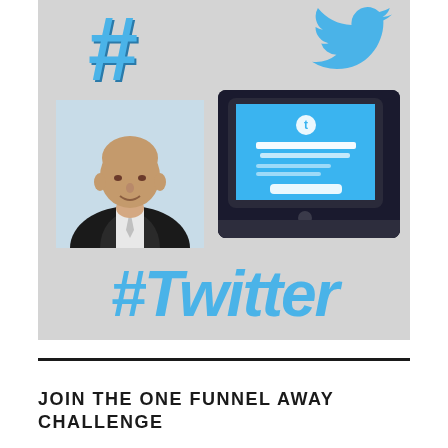[Figure (illustration): Promotional image on light gray background featuring a large blue hashtag symbol top-left, Twitter bird logo top-right, a bald man in black suit portrait photo bottom-left, a tablet showing Twitter welcome screen bottom-right, and large bold italic #Twitter text at the bottom of the image.]
JOIN THE ONE FUNNEL AWAY CHALLENGE